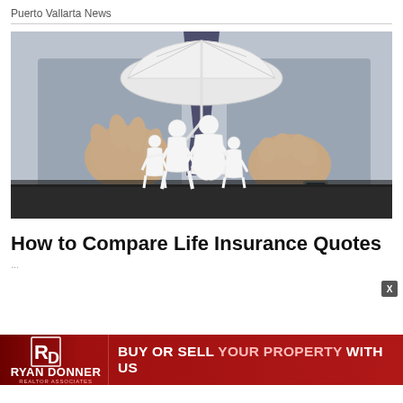Puerto Vallarta News
[Figure (photo): Person in grey suit holding a paper umbrella over paper cutout figures of a family (two adults and two children), hands cupped around them on a dark table surface. Concept image for life insurance protection.]
How to Compare Life Insurance Quotes
...
[Figure (other): Ryan Donner Realtor Associates advertisement banner: BUY OR SELL YOUR PROPERTY WITH US]
RD RYAN DONNER REALTOR ASSOCIATES | BUY OR SELL YOUR PROPERTY WITH US